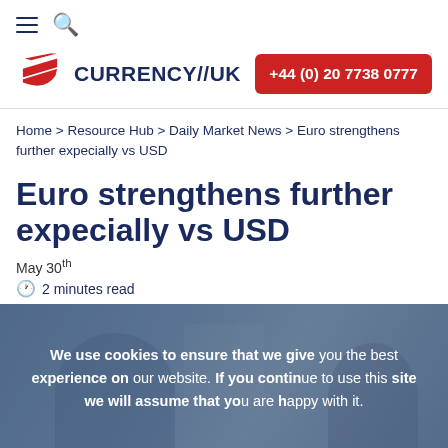≡ 🔍 (navigation icons)
[Figure (logo): Currency//UK logo with red/white diagonal stripes shield icon and dark blue CURRENCY//UK text, plus red phone button +44 (0) 20 7738 0777]
Home > Resource Hub > Daily Market News > Euro strengthens further expecially vs USD
Euro strengthens further expecially vs USD
May 30th
🕐 2 minutes read
[Figure (photo): Background photo of people working at computers in an office, partially obscured by a semi-transparent cookie consent overlay reading: We use cookies to ensure that we give you the best experience on our website. If you continue to use this site we will assume that you are happy with it.]